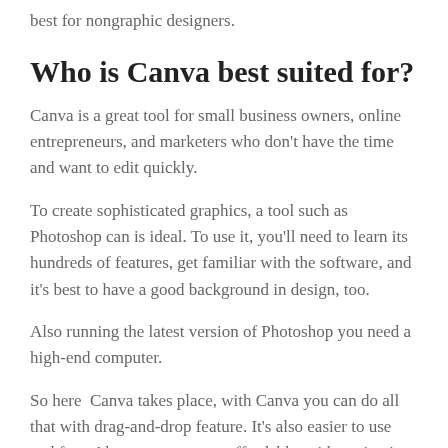best for nongraphic designers.
Who is Canva best suited for?
Canva is a great tool for small business owners, online entrepreneurs, and marketers who don't have the time and want to edit quickly.
To create sophisticated graphics, a tool such as Photoshop can is ideal. To use it, you'll need to learn its hundreds of features, get familiar with the software, and it's best to have a good background in design, too.
Also running the latest version of Photoshop you need a high-end computer.
So here  Canva takes place, with Canva you can do all that with drag-and-drop feature. It's also easier to use and free. Also an even-more-affordable paid version is available for $12.95 per